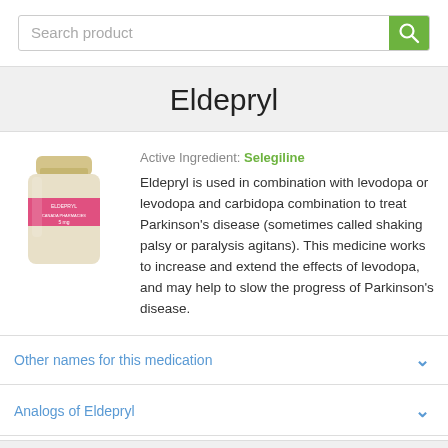Search product
Eldepryl
[Figure (photo): Pill bottle labeled ELDEPRYL 5mg with pink label, beige cap]
Active Ingredient: Selegiline
Eldepryl is used in combination with levodopa or levodopa and carbidopa combination to treat Parkinson's disease (sometimes called shaking palsy or paralysis agitans). This medicine works to increase and extend the effects of levodopa, and may help to slow the progress of Parkinson's disease.
Other names for this medication
Analogs of Eldepryl
Eldepryl 5mg